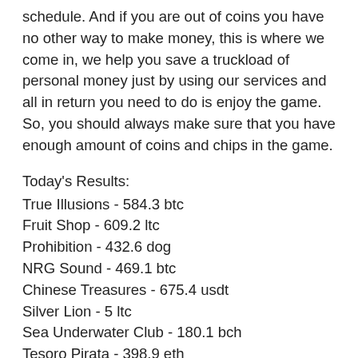schedule. And if you are out of coins you have no other way to make money, this is where we come in, we help you save a truckload of personal money just by using our services and all in return you need to do is enjoy the game. So, you should always make sure that you have enough amount of coins and chips in the game.
Today's Results:
True Illusions - 584.3 btc
Fruit Shop - 609.2 ltc
Prohibition - 432.6 dog
NRG Sound - 469.1 btc
Chinese Treasures - 675.4 usdt
Silver Lion - 5 ltc
Sea Underwater Club - 180.1 bch
Tesoro Pirata - 398.9 eth
Ocean Princess - 503.7 ltc
Bells on Fire - 389 ltc
Nirvana - 579.7 ltc